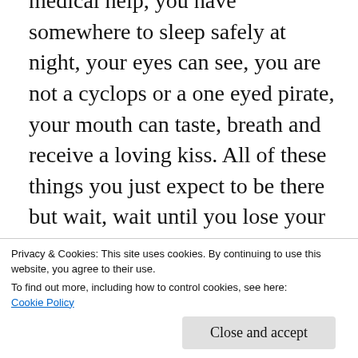medical help, you have somewhere to sleep safely at night, your eyes can see, you are not a cyclops or a one eyed pirate, your mouth can taste, breath and receive a loving kiss. All of these things you just expect to be there but wait, wait until you lose your eyesight, you lose your home, you become hospital bound with illness or you have a car accident and lose your good looks, a limb or even your wife/husband who was also in the car at the time. People
Privacy & Cookies: This site uses cookies. By continuing to use this website, you agree to their use.
To find out more, including how to control cookies, see here:
Cookie Policy
Close and accept
gone...